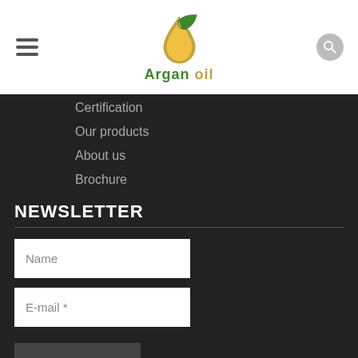[Figure (logo): Argan oil logo with green leaf and oil drop, green and gold text reading 'Argan oil']
Certification
Our products
About us
Brochure
NEWSLETTER
Name
E-mail *
SUBSCRIBE